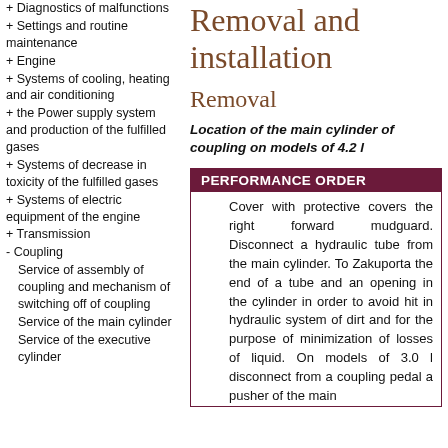+ Diagnostics of malfunctions
+ Settings and routine maintenance
+ Engine
+ Systems of cooling, heating and air conditioning
+ the Power supply system and production of the fulfilled gases
+ Systems of decrease in toxicity of the fulfilled gases
+ Systems of electric equipment of the engine
+ Transmission
- Coupling
Service of assembly of coupling and mechanism of switching off of coupling
Service of the main cylinder
Service of the executive cylinder
Removal and installation
Removal
Location of the main cylinder of coupling on models of 4.2 l
PERFORMANCE ORDER
Cover with protective covers the right forward mudguard. Disconnect a hydraulic tube from the main cylinder. To Zakuporta the end of a tube and an opening in the cylinder in order to avoid hit in hydraulic system of dirt and for the purpose of minimization of losses of liquid. On models of 3.0 l disconnect from a coupling pedal a pusher of the main